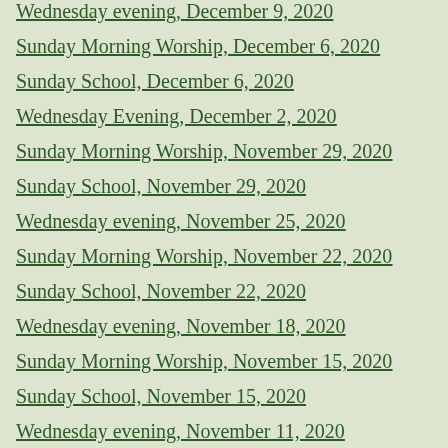Wednesday evening, December 9, 2020
Sunday Morning Worship, December 6, 2020
Sunday School, December 6, 2020
Wednesday Evening, December 2, 2020
Sunday Morning Worship, November 29, 2020
Sunday School, November 29, 2020
Wednesday evening, November 25, 2020
Sunday Morning Worship, November 22, 2020
Sunday School, November 22, 2020
Wednesday evening, November 18, 2020
Sunday Morning Worship, November 15, 2020
Sunday School, November 15, 2020
Wednesday evening, November 11, 2020
Sunday Morning Worship, November 8, 2020
Sunday School, November 8, 2020